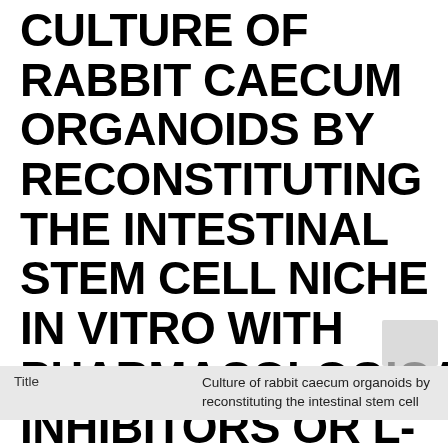CULTURE OF RABBIT CAECUM ORGANOIDS BY RECONSTITUTING THE INTESTINAL STEM CELL NICHE IN VITRO WITH PHARMACOLOGICAL INHIBITORS OR L-WRN CONDITIONED MEDIUM.
| Title |  |
| --- | --- |
| Title | Culture of rabbit caecum organoids by reconstituting the intestinal stem cell |